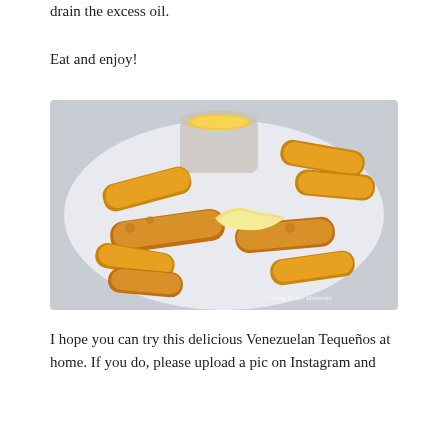drain the excess oil.
Eat and enjoy!
[Figure (photo): Fried Venezuelan Tequeños (cheese-filled fried dough sticks) arranged on a white plate, with one pulled apart showing melted cheese stretch, and a small white ramekin of yellow dipping sauce in the background. Watermark reads 'Living Sweet Moments'.]
I hope you can try this delicious Venezuelan Tequeños at home. If you do, please upload a pic on Instagram and